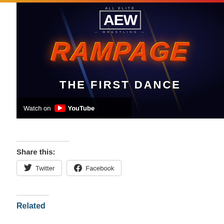[Figure (screenshot): AEW All Elite Wrestling Rampage: The First Dance promotional YouTube thumbnail with dark blue background, orange/red RAMPAGE text in grunge style, and 'THE FIRST DANCE' subtitle. Includes 'Watch on YouTube' overlay bar.]
Share this:
Twitter
Facebook
Related